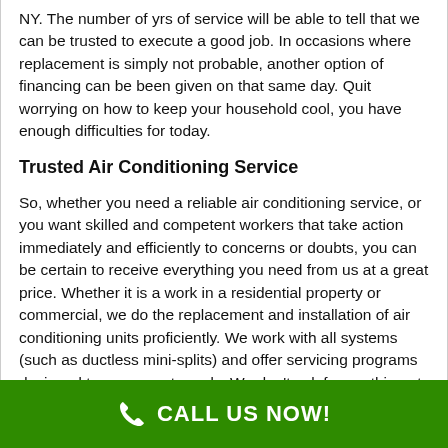NY. The number of yrs of service will be able to tell that we can be trusted to execute a good job. In occasions where replacement is simply not probable, another option of financing can be been given on that same day. Quit worrying on how to keep your household cool, you have enough difficulties for today.
Trusted Air Conditioning Service
So, whether you need a reliable air conditioning service, or you want skilled and competent workers that take action immediately and efficiently to concerns or doubts, you can be certain to receive everything you need from us at a great price. Whether it is a work in a residential property or commercial, we do the replacement and installation of air conditioning units proficiently. We work with all systems (such as ductless mini-splits) and offer servicing programs designed to your exact needs. We don't ask for anything at all to the written
CALL US NOW!